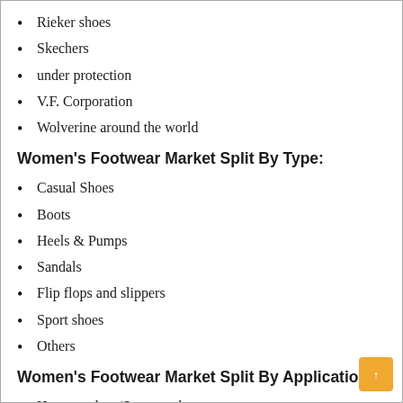Rieker shoes
Skechers
under protection
V.F. Corporation
Wolverine around the world
Women's Footwear Market Split By Type:
Casual Shoes
Boots
Heels & Pumps
Sandals
Flip flops and slippers
Sport shoes
Others
Women's Footwear Market Split By Application:
Hypermarkets/Supermarkets